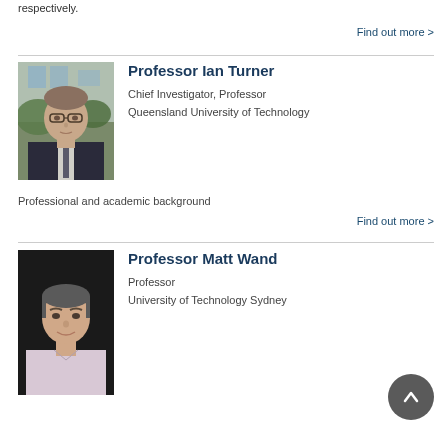respectively.
Find out more >
[Figure (photo): Headshot of Professor Ian Turner, a middle-aged man with glasses wearing a dark suit and tie, photographed outdoors.]
Professor Ian Turner
Chief Investigator, Professor
Queensland University of Technology
Professional and academic background
Find out more >
[Figure (photo): Headshot of Professor Matt Wand, a middle-aged man smiling, wearing a light shirt.]
Professor Matt Wand
Professor
University of Technology Sydney